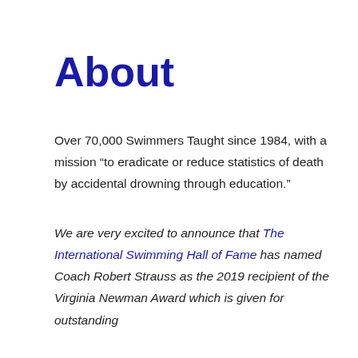About
Over 70,000 Swimmers Taught since 1984, with a mission “to eradicate or reduce statistics of death by accidental drowning through education.”
We are very excited to announce that The International Swimming Hall of Fame has named Coach Robert Strauss as the 2019 recipient of the Virginia Newman Award which is given for outstanding